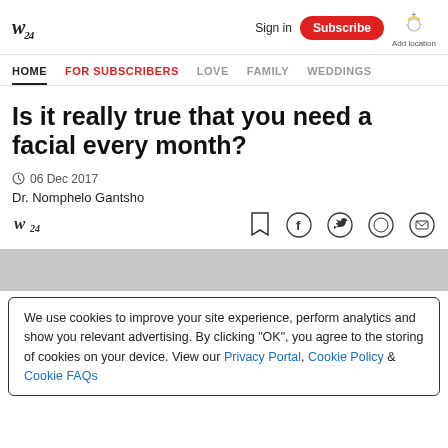W24 | Sign in | Subscribe | Add location
HOME | FOR SUBSCRIBERS | LOVE | FAMILY | WEDDINGS
Is it really true that you need a facial every month?
06 Dec 2017
Dr. Nomphelo Gantsho
[Figure (logo): W24 logo small]
[Figure (infographic): Bookmark and social share icons: bookmark, Facebook, Twitter, WhatsApp, email]
[Figure (photo): Gray image placeholder area]
We use cookies to improve your site experience, perform analytics and show you relevant advertising. By clicking "OK", you agree to the storing of cookies on your device. View our Privacy Portal, Cookie Policy & Cookie FAQs